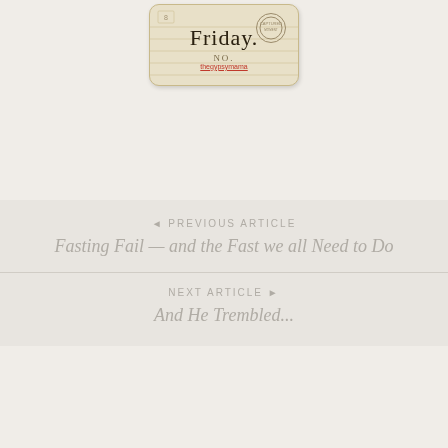[Figure (illustration): A vintage-style library card or index card with cursive text reading 'Friday', 'NO.' label, and 'thegypsymama' watermark in red underlined text, with a circular stamp in the top right corner.]
◄ PREVIOUS ARTICLE
Fasting Fail — and the Fast we all Need to Do
NEXT ARTICLE ►
And He Trembled...